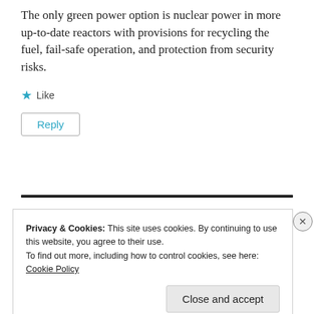The only green power option is nuclear power in more up-to-date reactors with provisions for recycling the fuel, fail-safe operation, and protection from security risks.
★ Like
Reply
Privacy & Cookies: This site uses cookies. By continuing to use this website, you agree to their use.
To find out more, including how to control cookies, see here:
Cookie Policy
Close and accept